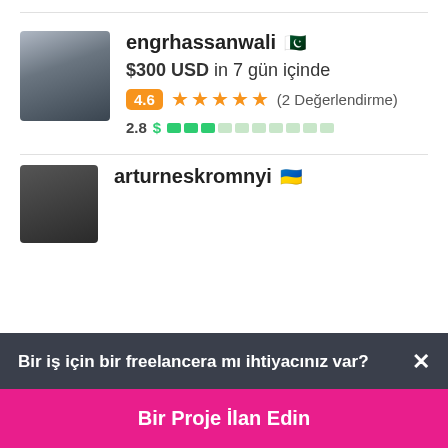[Figure (photo): Profile photo of engrhassanwali - man with glasses in dark clothing]
engrhassanwali 🇵🇰
$300 USD in 7 gün içinde
4.6 ★★★★★ (2 Değerlendirme)
2.8 $ skill bar
[Figure (photo): Profile photo of arturneskromnyi - man with dark hair]
arturneskromnyi 🇺🇦
Bir iş için bir freelancera mı ihtiyacınız var? ×
Bir Proje İlan Edin